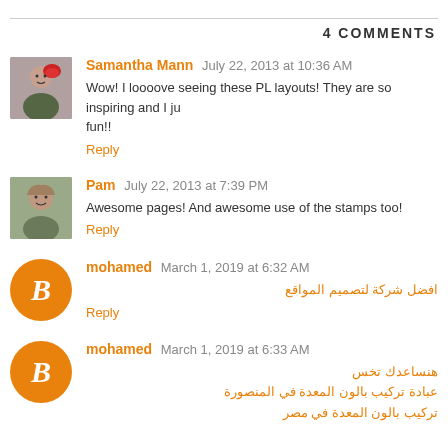4 COMMENTS
Samantha Mann  July 22, 2013 at 10:36 AM
Wow! I loooove seeing these PL layouts! They are so inspiring and I ju fun!!
Reply
Pam  July 22, 2013 at 7:39 PM
Awesome pages! And awesome use of the stamps too!
Reply
mohamed  March 1, 2019 at 6:32 AM
افضل شركة لتصميم المواقع
Reply
mohamed  March 1, 2019 at 6:33 AM
هنساعدك تخس
عبادة تركيب بالون المعدة في المنصورة
تركيب بالون المعدة في مصر